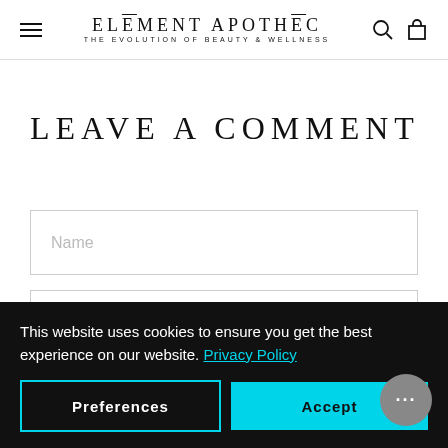ELĒMENT APOTHĒC — THE EVOLUTION OF BEAUTY & WELLNESS
LEAVE A COMMENT
Name
Email
This website uses cookies to ensure you get the best experience on our website. Privacy Policy
Preferences
Accept